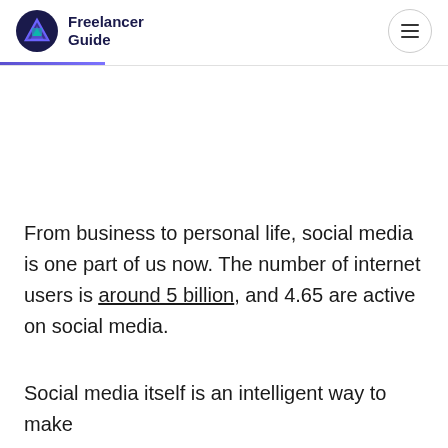Freelancer Guide
From business to personal life, social media is one part of us now. The number of internet users is around 5 billion, and 4.65 are active on social media.
Social media itself is an intelligent way to make